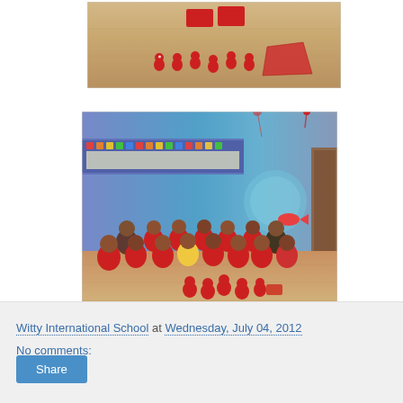[Figure (photo): Photo of red toy figures arranged on a wooden floor, with red boxes and packaging visible]
[Figure (photo): Group photo of young children and teachers sitting on a wooden floor in a colorful classroom with ocean-themed wall murals, children wearing red outfits, red toy figures arranged in front]
Witty International School at Wednesday, July 04, 2012
No comments:
Share